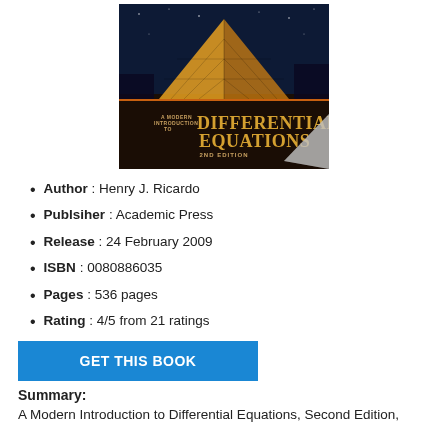[Figure (photo): Book cover of 'A Modern Introduction to Differential Equations, 2nd Edition' by Henry J. Ricardo, showing the Louvre pyramid at night with golden lettering.]
Author : Henry J. Ricardo
Publsiher : Academic Press
Release : 24 February 2009
ISBN : 0080886035
Pages : 536 pages
Rating : 4/5 from 21 ratings
GET THIS BOOK
Summary:
A Modern Introduction to Differential Equations, Second Edition,